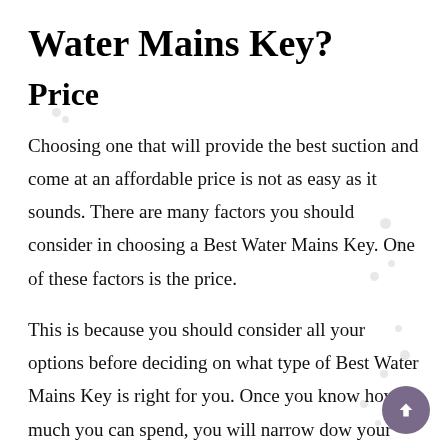Water Mains Key?
Price
Choosing one that will provide the best suction and come at an affordable price is not as easy as it sounds. There are many factors you should consider in choosing a Best Water Mains Key. One of these factors is the price.
This is because you should consider all your options before deciding on what type of Best Water Mains Key is right for you. Once you know how much you can spend, you will narrow down your choices and find the Best Water Mains Key